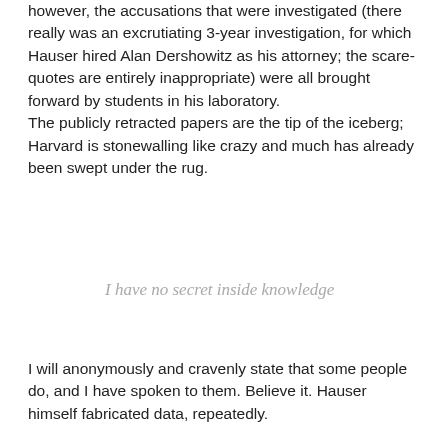however, the accusations that were investigated (there really was an excrutiating 3-year investigation, for which Hauser hired Alan Dershowitz as his attorney; the scare-quotes are entirely inappropriate) were all brought forward by students in his laboratory. The publicly retracted papers are the tip of the iceberg; Harvard is stonewalling like crazy and much has already been swept under the rug.
I have no secret inside knowledge
I will anonymously and cravenly state that some people do, and I have spoken to them. Believe it. Hauser himself fabricated data, repeatedly.